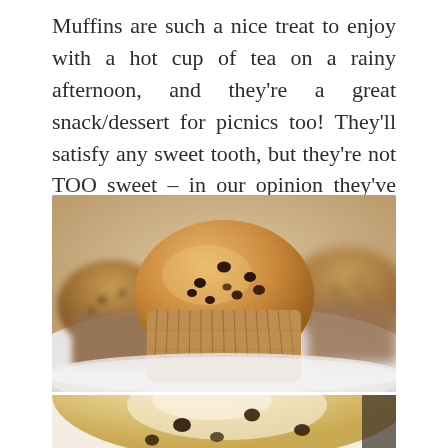Muffins are such a nice treat to enjoy with a hot cup of tea on a rainy afternoon, and they're a great snack/dessert for picnics too! They'll satisfy any sweet tooth, but they're not TOO sweet – in our opinion they've got the perfect balance that everyone will enjoy!
[Figure (photo): Close-up photo of chocolate chip muffins in paper cases on a white plate, warm golden-brown color with visible chocolate chips on top]
[Figure (photo): Close-up photo of a muffin top with cream/glaze and chocolate chips, blurred background]